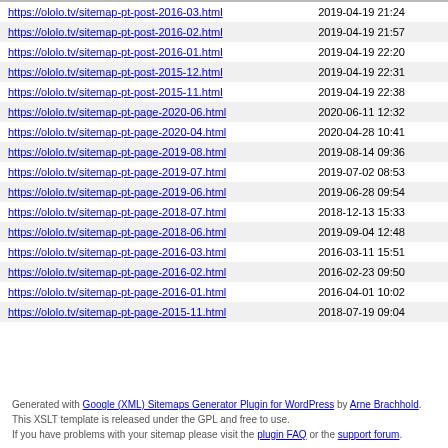| URL | Last Modified |
| --- | --- |
| https://ololo.tv/sitemap-pt-post-2016-03.html | 2019-04-19 21:24 |
| https://ololo.tv/sitemap-pt-post-2016-02.html | 2019-04-19 21:57 |
| https://ololo.tv/sitemap-pt-post-2016-01.html | 2019-04-19 22:20 |
| https://ololo.tv/sitemap-pt-post-2015-12.html | 2019-04-19 22:31 |
| https://ololo.tv/sitemap-pt-post-2015-11.html | 2019-04-19 22:38 |
| https://ololo.tv/sitemap-pt-page-2020-06.html | 2020-06-11 12:32 |
| https://ololo.tv/sitemap-pt-page-2020-04.html | 2020-04-28 10:41 |
| https://ololo.tv/sitemap-pt-page-2019-08.html | 2019-08-14 09:36 |
| https://ololo.tv/sitemap-pt-page-2019-07.html | 2019-07-02 08:53 |
| https://ololo.tv/sitemap-pt-page-2019-06.html | 2019-06-28 09:54 |
| https://ololo.tv/sitemap-pt-page-2018-07.html | 2018-12-13 15:33 |
| https://ololo.tv/sitemap-pt-page-2018-06.html | 2019-09-04 12:48 |
| https://ololo.tv/sitemap-pt-page-2016-03.html | 2016-03-11 15:51 |
| https://ololo.tv/sitemap-pt-page-2016-02.html | 2016-02-23 09:50 |
| https://ololo.tv/sitemap-pt-page-2016-01.html | 2016-04-01 10:02 |
| https://ololo.tv/sitemap-pt-page-2015-11.html | 2018-07-19 09:04 |
Generated with Google (XML) Sitemaps Generator Plugin for WordPress by Arne Brachhold. This XSLT template is released under the GPL and free to use. If you have problems with your sitemap please visit the plugin FAQ or the support forum.